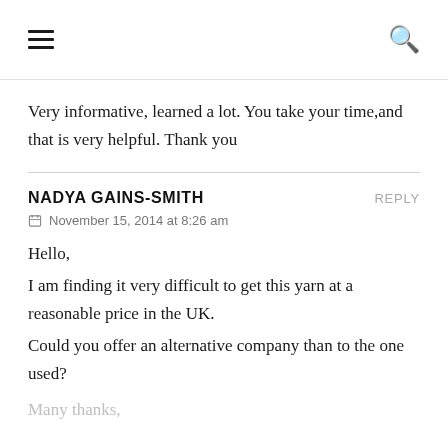[Figure (other): Navigation bar with hamburger menu icon on left and search icon on right]
Very informative, learned a lot. You take your time,and that is very helpful. Thank you
NADYA GAINS-SMITH
November 15, 2014 at 8:26 am
Hello,
I am finding it very difficult to get this yarn at a reasonable price in the UK. Could you offer an alternative company than to the one used?
Many thanks,